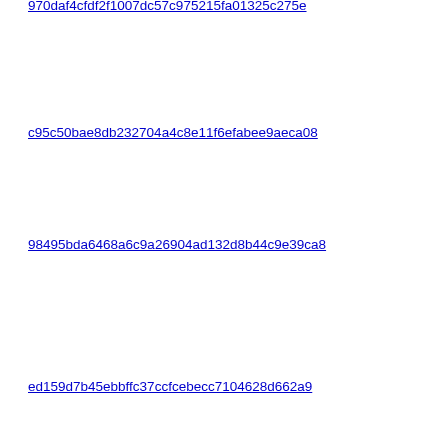970daf4cfdf2f1007dc57c975215fa01325c275e | Mike gfx/2e
c95c50bae8db232704a4c8e11f6efabee9aeca08 | Came dirty.
98495bda6468a6c9a26904ad132d8b44c9e39ca8 | Victor timed
ed159d7b45ebbffc37ccfcebecc7104628d662a9 | David telem
6424bcea24607846d5ed5b3e434b8301affdd743 | David cooki
649a50fee077769bb798ff492434c09d5628e231 | David a thir
872cb1c92a731fc6cf5f56caf07250140ebbc415 | Jeff M EXTE
f85cd92c190612967f1e0681fbb66bc670e359a5 | Jeff M
ec6f95743c5d777906bc4743d671500956eeacd2 | Jeff M GetIn
e9b1e686b98389ccd7e5e08da025efd76b49d8c3 | Marga
4f98cdea7ea41b8295df48a0ea68041dbc5c2e2f | Marga that d
0a7b5696c49afa31bb6ff9aed758a6512a7c1f39 | Marga "plug
e6d1090425fcdbf67d0642415538ead6879d0d5b | Jason
17c4c99f1ac2e9b2fc1b0392668807656980a40c0 | Ethar
0fd721c4a35fcf1cae5dc57967b805d8e51984ea | Phil F rest o
089f6bad69de395faab906c2d612e88e811f3427 | Phil R